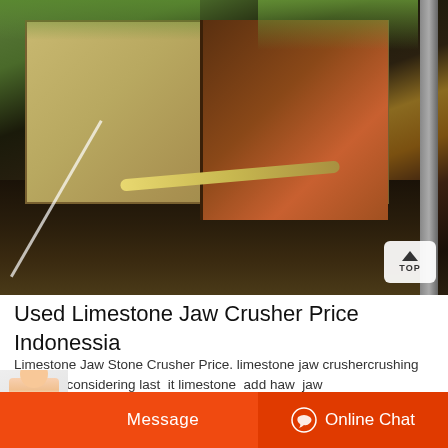[Figure (photo): Photograph of a large industrial jaw crusher / stone crushing machine outdoors. The machine has a large tan/yellow-colored body with metal panels and bolts, a dark orange-brown hopper/funnel section on the right, a curved yellow arm/belt, and metal support structures. Trees are visible in the background. A white 'TOP' button overlay appears in the bottom-right corner of the image.]
Used Limestone Jaw Crusher Price Indonessia
Limestone Jaw Stone Crusher Price. limestone jaw crushercrushing m... 2013 ... considering last ... it limestone ... add haw ... jaw
Message   Online Chat